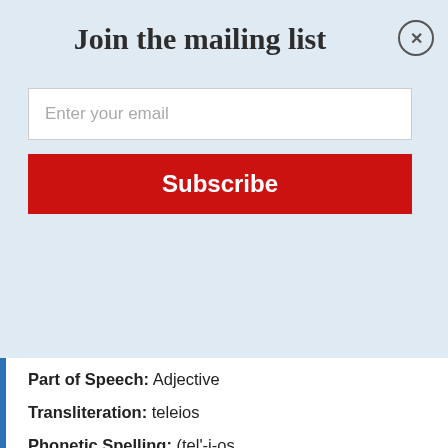Join the mailing list
Enter your email
Subscribe
Part of Speech: Adjective
Transliteration: teleios
Phonetic Spelling: (tel'-i-os
Quick Definition: having reached its end, complete, perfect
Usage: perfect, (a) complete in all its parts, (b) full grown, of full age, (c) specially of the completeness of Christian character.